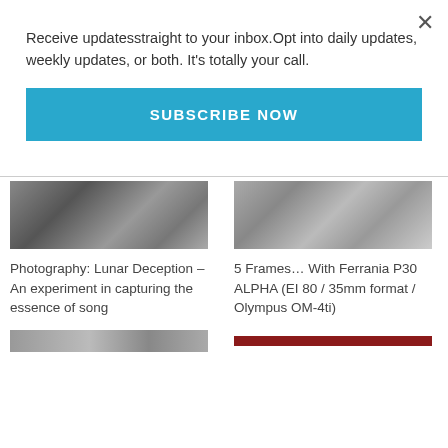Receive updatesstraight to your inbox.Opt into daily updates, weekly updates, or both. It's totally your call.
SUBSCRIBE NOW
[Figure (photo): Black and white photograph, left column thumbnail]
[Figure (photo): Black and white photograph, right column thumbnail]
Photography: Lunar Deception – An experiment in capturing the essence of song
5 Frames… With Ferrania P30 ALPHA (EI 80 / 35mm format / Olympus OM-4ti)
[Figure (photo): Partial bottom-left thumbnail image]
[Figure (other): Dark red horizontal bar, bottom right]